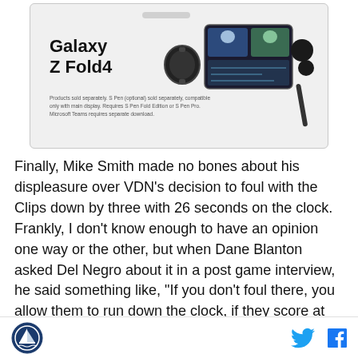[Figure (advertisement): Samsung Galaxy Z Fold4 advertisement showing the phone, a smartwatch, earbuds, and a stylus. Text reads: 'Galaxy Z Fold4'. Fine print: 'Products sold separately. S Pen (optional) sold separately, compatible only with main display. Requires S Pen Fold Edition or S Pen Pro. Microsoft Teams requires separate download.']
Finally, Mike Smith made no bones about his displeasure over VDN's decision to foul with the Clips down by three with 26 seconds on the clock. Frankly, I don't know enough to have an opinion one way or the other, but when Dane Blanton asked Del Negro about it in a post game interview, he said something like, "If you don't foul there, you allow them to run down the clock, if they score at the end of the clock, you can't get back in." Okay, I get that, but it seems to me, with
[Logo] [Twitter icon] [Facebook icon]